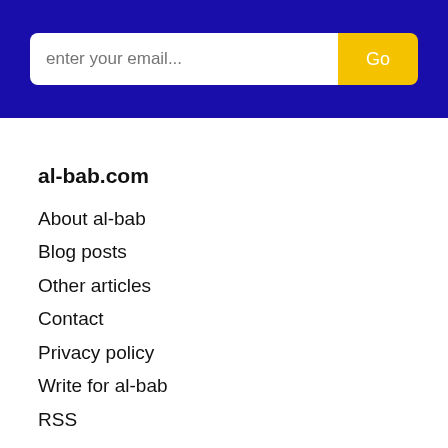[Figure (screenshot): Blue header band with email input field and yellow Go button]
al-bab.com
About al-bab
Blog posts
Other articles
Contact
Privacy policy
Write for al-bab
RSS
Society & Politics
Civil society
Corruption